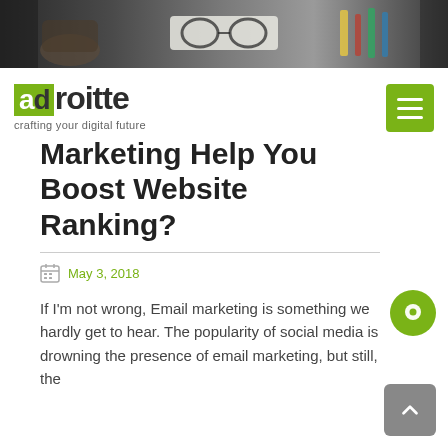[Figure (photo): Hero banner photo showing a desk scene with glasses, coffee mug, and stationery items on a dark background]
adroitte — crafting your digital future
Marketing Help You Boost Website Ranking?
May 3, 2018
If I'm not wrong, Email marketing is something we hardly get to hear. The popularity of social media is drowning the presence of email marketing, but still, the